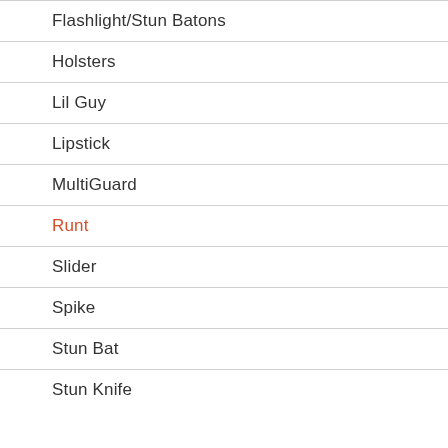Flashlight/Stun Batons
Holsters
Lil Guy
Lipstick
MultiGuard
Runt
Slider
Spike
Stun Bat
Stun Knife